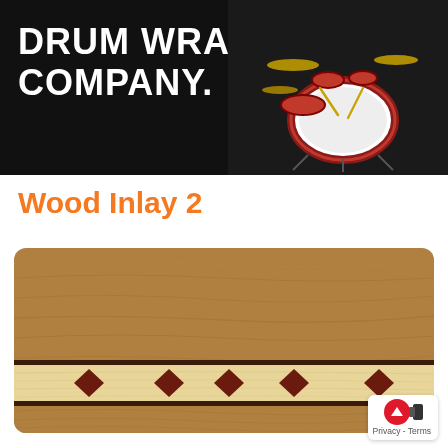DRUM WRAP COMPANY.
[Figure (photo): Drum kit photo on black background in top right of header]
Wood Inlay 2
[Figure (illustration): Wood wrap panel showing light tan wood grain background with a decorative inlay band containing alternating dark brown diamond shapes on a cream/birch stripe, bordered by thin dark brown lines]
[Figure (logo): Google Maps / Street View privacy badge with red circle icon and camera, showing Privacy - Terms text]